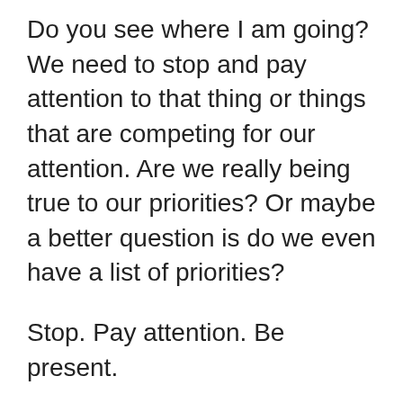Do you see where I am going? We need to stop and pay attention to that thing or things that are competing for our attention. Are we really being true to our priorities? Or maybe a better question is do we even have a list of priorities?
Stop. Pay attention. Be present.
I know my family is desperately calling for me to live with this philosophy.
A suggestion was made during the weekend that everyone should take a 48